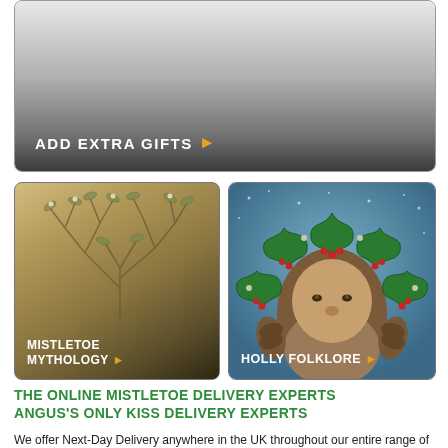[Figure (photo): Dark gradient banner with 'ADD EXTRA GIFTS' label and orange arrow]
ADD EXTRA GIFTS ▶
[Figure (photo): Sepia-toned botanical illustration of mistletoe plant with label MISTLETOE MYTHOLOGY]
[Figure (photo): Fantasy illustration of green man face made of holly leaves and red berries with label HOLLY FOLKLORE]
THE ONLINE MISTLETOE DELIVERY EXPERTS
ANGUS'S ONLY KISS DELIVERY EXPERTS
We offer Next-Day Delivery anywhere in the UK throughout our entire range of Mistletoe, Holly and Wreaths.
We really are the Mistletoe Delivery Experts of Choice and offer a